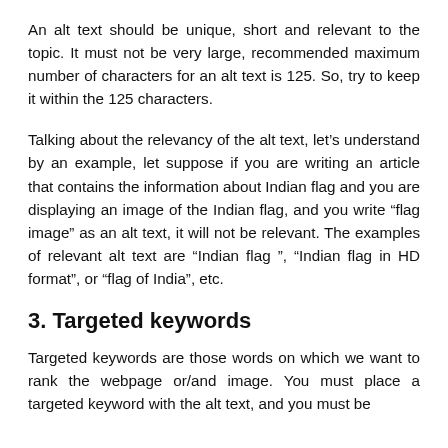An alt text should be unique, short and relevant to the topic. It must not be very large, recommended maximum number of characters for an alt text is 125. So, try to keep it within the 125 characters.
Talking about the relevancy of the alt text, let’s understand by an example, let suppose if you are writing an article that contains the information about Indian flag and you are displaying an image of the Indian flag, and you write “flag image” as an alt text, it will not be relevant. The examples of relevant alt text are “Indian flag ”, “Indian flag in HD format”, or “flag of India”, etc.
3. Targeted keywords
Targeted keywords are those words on which we want to rank the webpage or/and image. You must place a targeted keyword with the alt text, and you must be